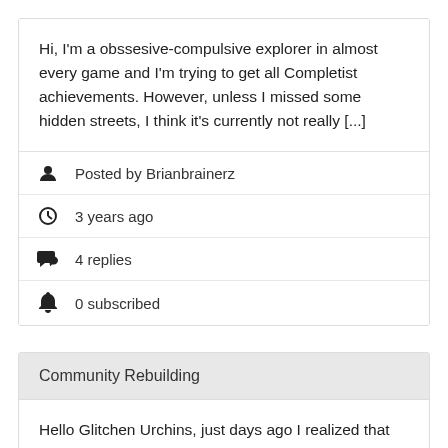Hi, I'm a obssesive-compulsive explorer in almost every game and I'm trying to get all Completist achievements. However, unless I missed some hidden streets, I think it's currently not really [...]
Posted by Brianbrainerz
3 years ago
4 replies
0 subscribed
Community Rebuilding
Hello Glitchen Urchins, just days ago I realized that the state of the game improved dramatically and realized that it's time to get back to Ur. However, it's really rare to meet other players [...]